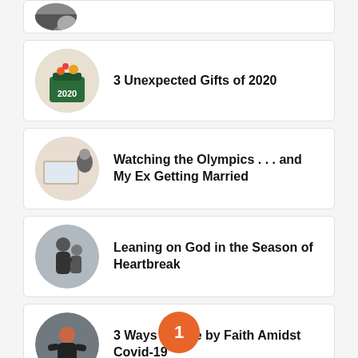[Figure (photo): Circular thumbnail photo, partially visible at top of page]
3 Unexpected Gifts of 2020
Watching the Olympics . . . and My Ex Getting Married
Leaning on God in the Season of Heartbreak
3 Ways to Live by Faith Amidst Covid-19
1